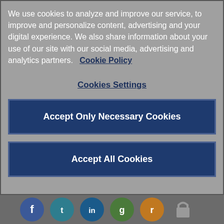We use cookies to analyze and improve our service, to improve and personalize content, advertising and your digital experience. We also share information about your use of our site with our social media, advertising and analytics partners.   Cookie Policy
Cookies Settings
Accept Only Necessary Cookies
Accept All Cookies
[Figure (illustration): Bottom bar with social media icons (Facebook blue, Twitter/LinkedIn teal, LinkedIn blue, green icon, orange icon) and a lock icon on a gray background]